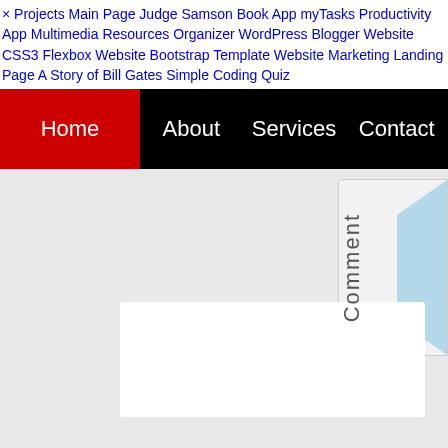× Projects Main Page Judge Samson Book App myTasks Productivity App Multimedia Resources Organizer WordPress Blogger Website CSS3 Flexbox Website Bootstrap Template Website Marketing Landing Page A Story of Bill Gates Simple Coding Quiz
[Figure (screenshot): Navigation bar with Home (red/active), About, Services, Contact items on black background]
[Figure (screenshot): Comment panel on right side with vertical 'Comment' text and blue shape, plus white content box at bottom]